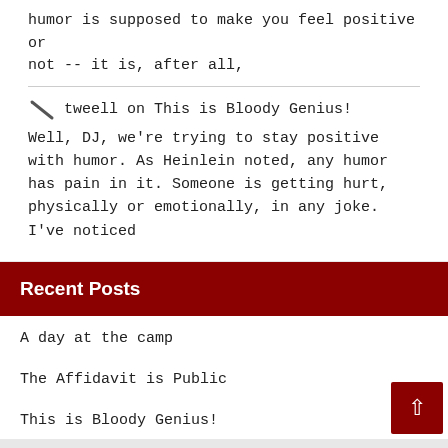humor is supposed to make you feel positive or not -- it is, after all,
tweell on This is Bloody Genius!
Well, DJ, we're trying to stay positive with humor. As Heinlein noted, any humor has pain in it. Someone is getting hurt, physically or emotionally, in any joke. I've noticed
Recent Posts
A day at the camp
The Affidavit is Public
This is Bloody Genius!